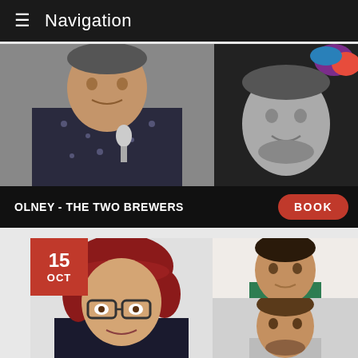Navigation
[Figure (photo): Event card for Olney - The Two Brewers. Left photo: male comedian in star-print shirt holding microphone, black and white. Right photo: male comedian smiling, black and white with color accent in background. Bottom bar shows venue name and Book button.]
OLNEY - THE TWO BREWERS
BOOK
[Figure (photo): Event card for October 15 show. Date badge showing '15 OCT' in red. Left large photo: woman with red hair and glasses smiling. Top right photo: young man in green shirt. Bottom right photo: young man in grey t-shirt.]